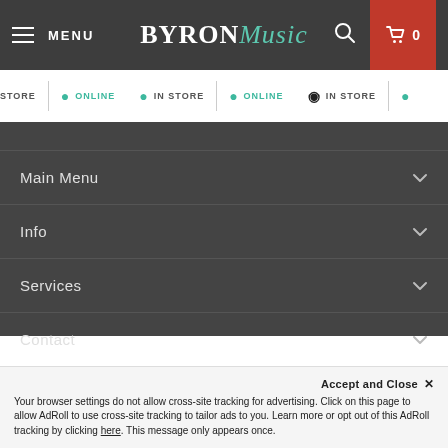MENU | BYRON Music | Search | Cart 0
STORE  ✓ ONLINE  ✓ IN STORE  ✓ ONLINE  ✗ IN STORE  ✓
Main Menu
Info
Services
Contact
Subscribe today!
Accept and Close ✕
Your browser settings do not allow cross-site tracking for advertising. Click on this page to allow AdRoll to use cross-site tracking to tailor ads to you. Learn more or opt out of this AdRoll tracking by clicking here. This message only appears once.